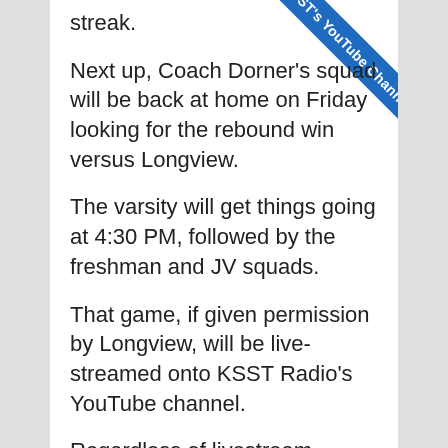streak.
Next up, Coach Dorner's squad will be back at home on Friday looking for the rebound win versus Longview.
The varsity will get things going at 4:30 PM, followed by the freshman and JV squads.
That game, if given permission by Longview, will be live-streamed onto KSST Radio's YouTube channel.
Regardless of livestream capabilities, Friday's volleyball matchup with the Lady Lovos will be broadcasted on KSST